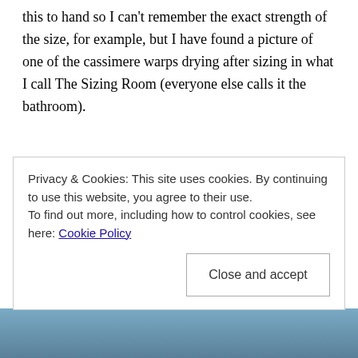this to hand so I can't remember the exact strength of the size, for example, but I have found a picture of one of the cassimere warps drying after sizing in what I call The Sizing Room (everyone else calls it the bathroom).
Privacy & Cookies: This site uses cookies. By continuing to use this website, you agree to their use. To find out more, including how to control cookies, see here: Cookie Policy
[Figure (photo): Partial photo visible at bottom of page showing what appears to be weaving or textile equipment in blue/grey tones.]